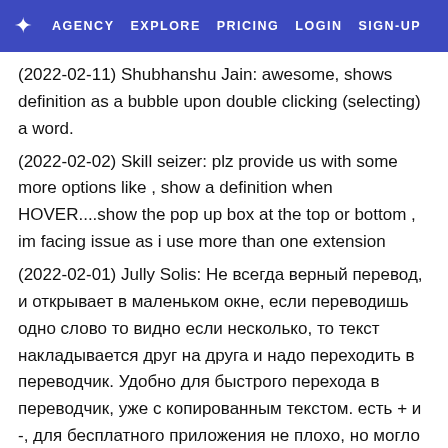★ AGENCY  EXPLORE  PRICING  LOGIN  SIGN-UP
(2022-02-11) Shubhanshu Jain: awesome, shows definition as a bubble upon double clicking (selecting) a word.
(2022-02-02) Skill seizer: plz provide us with some more options like , show a definition when HOVER....show the pop up box at the top or bottom ,
im facing issue as i use more than one extension
(2022-02-01) Jully Solis: Не всегда верный перевод, и открывает в маленьком окне, если переводишь одно слово то видно если несколько, то текст накладывается друг на друга и надо переходить в переводчик. Удобно для быстрого перехода в переводчик, уже с копированным текстом. есть + и -, для бесплатного приложения не плохо, но могло быть и лучше.